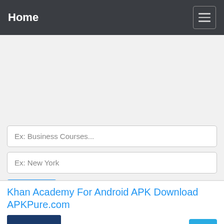Home
Ex: Business Courses...
Ex: New York
Search
Khan Academy For Android APK Download APKPure.com
Rating: 8.9/10(27)